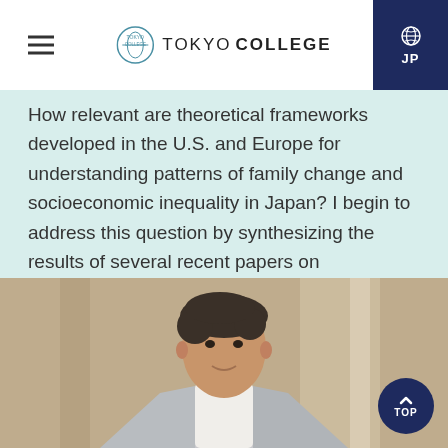TOKYO COLLEGE
How relevant are theoretical frameworks developed in the U.S. and Europe for understanding patterns of family change and socioeconomic inequality in Japan? I begin to address this question by synthesizing the results of several recent papers on socioeconomic differences in family demographic behavior and children's well-being in Japan.
[Figure (photo): Portrait photo of a man with curly dark hair wearing a light grey blazer over a white shirt, smiling slightly, photographed indoors with blurred background]